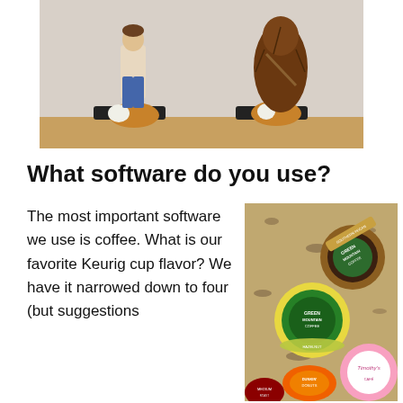[Figure (photo): Photo of two action figures (Han Solo and Chewbacca) with guinea pigs on a wooden shelf surface]
What software do you use?
The most important software we use is coffee. What is our favorite Keurig cup flavor? We have it narrowed down to four (but suggestions
[Figure (photo): Photo of several Green Mountain Coffee and Timothy's Keurig K-cups on a granite countertop]